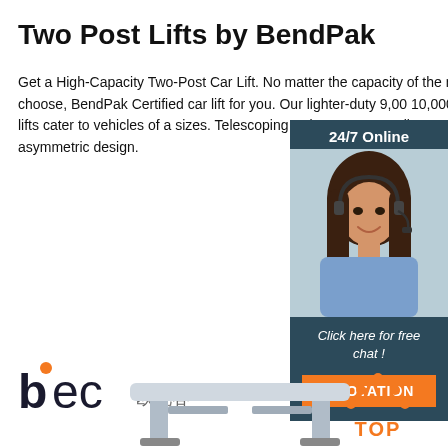Two Post Lifts by BendPak
Get a High-Capacity Two-Post Car Lift. No matter the capacity of the model you choose, BendPak Certified car lift for you. Our lighter-duty 9,000-lb. and 10,000-lb. capacity lifts cater to vehicles of all sizes. Telescoping swing-arms are tailor-made symmetric or asymmetric design.
Get Price
[Figure (photo): Chat widget with 24/7 Online label, photo of woman with headset, 'Click here for free chat!' text, and QUOTATION button]
[Figure (logo): BEC logo with Chinese characters]
[Figure (infographic): TOP button with orange diamond dot pattern]
[Figure (photo): Partial product image of a two post car lift at bottom of page]